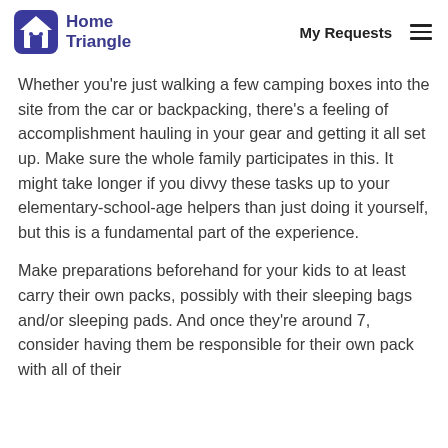Home Triangle | My Requests
Whether you're just walking a few camping boxes into the site from the car or backpacking, there's a feeling of accomplishment hauling in your gear and getting it all set up. Make sure the whole family participates in this. It might take longer if you divvy these tasks up to your elementary-school-age helpers than just doing it yourself, but this is a fundamental part of the experience.
Make preparations beforehand for your kids to at least carry their own packs, possibly with their sleeping bags and/or sleeping pads. And once they're around 7, consider having them be responsible for their own pack with all of their